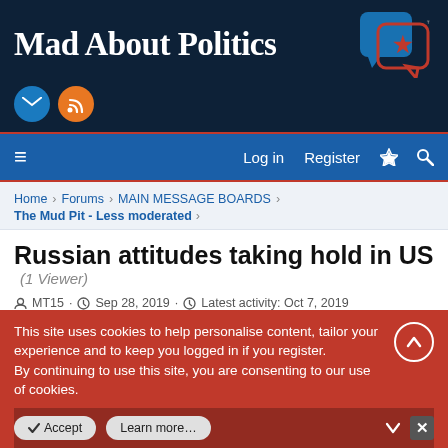Mad About Politics
Log in  Register
Home > Forums > MAIN MESSAGE BOARDS > The Mud Pit - Less moderated >
Russian attitudes taking hold in US (1 Viewer)
MT15 · Sep 28, 2019 · Latest activity: Oct 7, 2019
This site uses cookies to help personalise content, tailor your experience and to keep you logged in if you register. By continuing to use this site, you are consenting to our use of cookies.
Accept  Learn more...